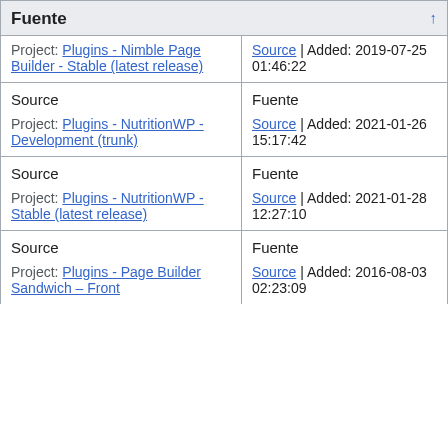| Fuente | ↑ |
| --- | --- |
| Project: Plugins - Nimble Page Builder - Stable (latest release) | Source | Added: 2019-07-25 01:46:22 |
| Source
Project: Plugins - NutritionWP - Development (trunk) | Fuente
Source | Added: 2021-01-26 15:17:42 |
| Source
Project: Plugins - NutritionWP - Stable (latest release) | Fuente
Source | Added: 2021-01-28 12:27:10 |
| Source
Project: Plugins - Page Builder Sandwich – Front | Fuente
Source | Added: 2016-08-03 02:23:09 |